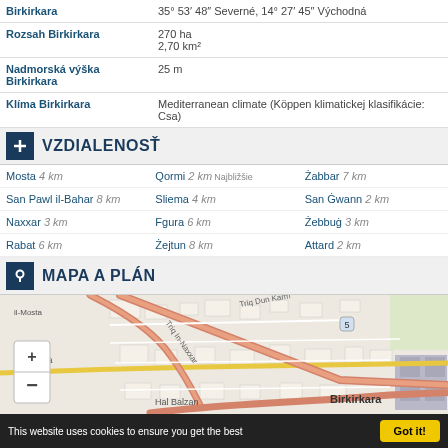| Property | Value |
| --- | --- |
| Birkirkara | 35° 53′ 48″ Severné, 14° 27′ 45″ Východná |
| Rozsah Birkirkara | 270 ha
2,70 km² |
| Nadmorská výška Birkirkara | 25 m |
| Klíma Birkirkara | Mediterranean climate (Köppen klimatickej klasifikácie: Csa) |
VZDIALENOSŤ
| Place | Place | Place |
| --- | --- | --- |
| Mosta 4 km | Qormi 2 km Najbližšie | Żabbar 7 km |
| San Pawl il-Bahar 8 km | Sliema 4 km | San Ġwann 2 km |
| Naxxar 3 km | Fgura 6 km | Żebbug 3 km |
| Rabat 6 km | Żejtun 8 km | Attard 2 km |
MAPA A PLÁN
[Figure (map): Street map of Birkirkara, Malta showing roads including Triq Dun Karm and surrounding areas (Hal Balzan, il-Mosta, il-Lija). Map has zoom controls (+/-).]
This website uses cookies to ensure you get the best  Got it!